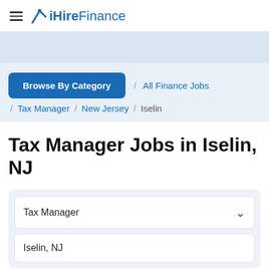iHireFinance
[Figure (screenshot): Light blue/gray advertisement banner area]
Browse By Category / All Finance Jobs / Tax Manager / New Jersey / Iselin
Tax Manager Jobs in Iselin, NJ
Tax Manager
Iselin, NJ